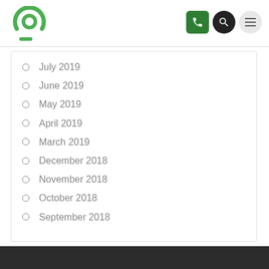Logo and navigation header
July 2019
June 2019
May 2019
April 2019
March 2019
December 2018
November 2018
October 2018
September 2018